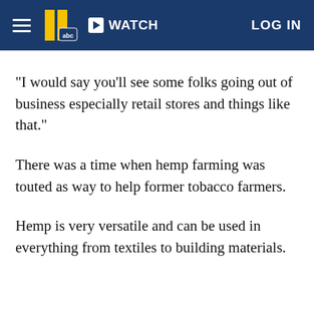WATCH  LOG IN
"I would say you'll see some folks going out of business especially retail stores and things like that."
There was a time when hemp farming was touted as way to help former tobacco farmers.
Hemp is very versatile and can be used in everything from textiles to building materials.